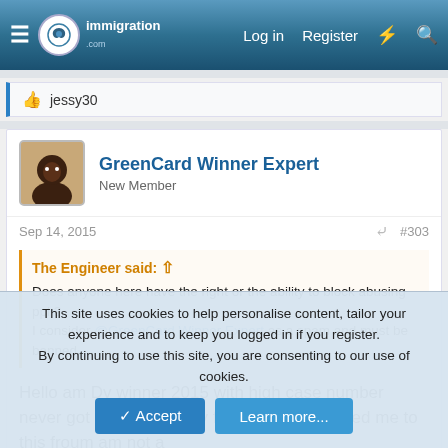immigration.com — Log in | Register
👍 jessy30
GreenCard Winner Expert
New Member
Sep 14, 2015   #303
The Engineer said: ↑
Does anyone here have the right or the ability to block abusing ppl ?. I consider @GreenCard Winner Expert as a spam and must be banned.
Hello am Dv winner 2015 with high case number never got interviewed my friend just introduced me to this froum am not a
This site uses cookies to help personalise content, tailor your experience and to keep you logged in if you register.
By continuing to use this site, you are consenting to our use of cookies.
✓ Accept   Learn more...